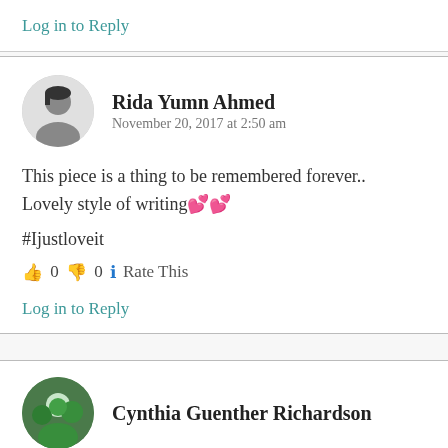Log in to Reply
Rida Yumn Ahmed
November 20, 2017 at 2:50 am
This piece is a thing to be remembered forever..
Lovely style of writing💕💕

#Ijustloveit

👍 0 👎 0 ℹ Rate This
Log in to Reply
Cynthia Guenther Richardson